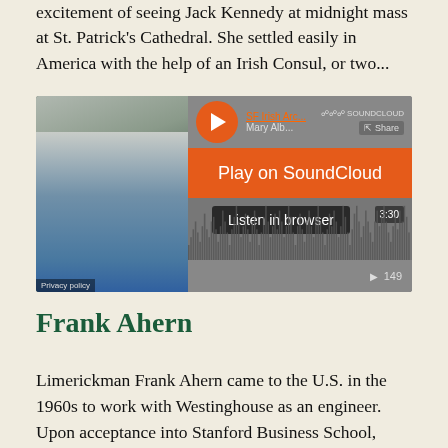excitement of seeing Jack Kennedy at midnight mass at St. Patrick's Cathedral. She settled easily in America with the help of an Irish Consul, or two...
[Figure (screenshot): SoundCloud embedded audio player widget showing a thumbnail of a person, an orange Play on SoundCloud button, a Listen in browser button, a waveform visualization, and play count of 149. Duration shown as 3:30. Track listed as SF Irish Arc... / Mary Alb...]
Frank Ahern
Limerickman Frank Ahern came to the U.S. in the 1960s to work with Westinghouse as an engineer. Upon acceptance into Stanford Business School, Frank and